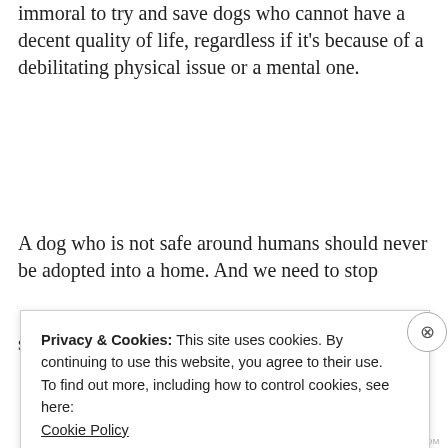immoral to try and save dogs who cannot have a decent quality of life, regardless if it’s because of a debilitating physical issue or a mental one.
A dog who is not safe around humans should never be adopted into a home.  And we need to stop stigmatizing people who make the call to euthanize
Privacy & Cookies: This site uses cookies. By continuing to use this website, you agree to their use.
To find out more, including how to control cookies, see here: Cookie Policy
Close and accept